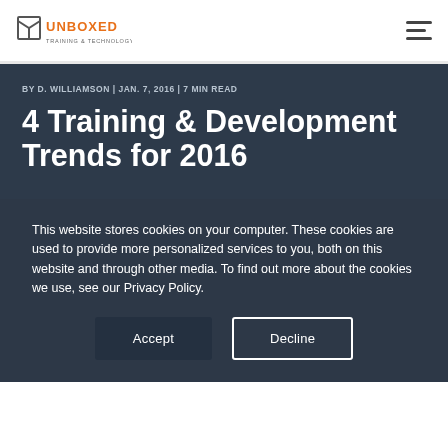Unboxed Training & Technology
BY D. WILLIAMSON | JAN. 7, 2016 | 7 MIN READ
4 Training & Development Trends for 2016
This website stores cookies on your computer. These cookies are used to provide more personalized services to you, both on this website and through other media. To find out more about the cookies we use, see our Privacy Policy.